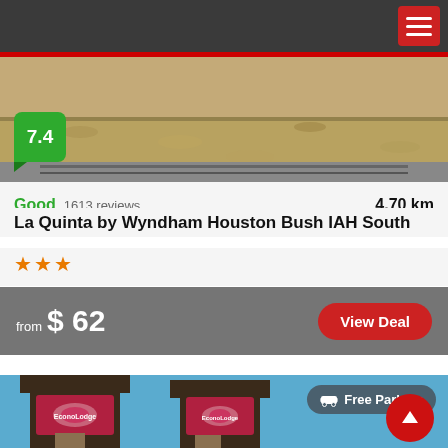[Figure (photo): Hotel exterior photo - pavement/gravel ground surface view]
7.4
Good  1613 reviews
4.70 km
La Quinta by Wyndham Houston Bush IAH South
★★★
from  $ 62
View Deal
[Figure (photo): Econo Lodge hotel exterior sign against blue sky with Free Parking badge]